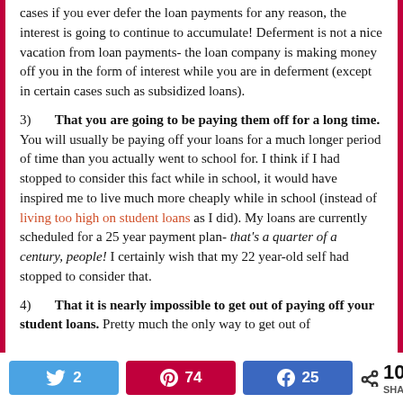cases if you ever defer the loan payments for any reason, the interest is going to continue to accumulate!  Deferment is not a nice vacation from loan payments- the loan company is making money off you in the form of interest while you are in deferment (except in certain cases such as subsidized loans).
3)   That you are going to be paying them off for a long time. You will usually be paying off your loans for a much longer period of time than you actually went to school for.  I think if I had stopped to consider this fact while in school, it would have inspired me to live much more cheaply while in school (instead of living too high on student loans as I did).  My loans are currently scheduled for a 25 year payment plan- that's a quarter of a century, people!   I certainly wish that my 22 year-old self had stopped to consider that.
4)   That it is nearly impossible to get out of paying off your student loans.  Pretty much the only way to get out of